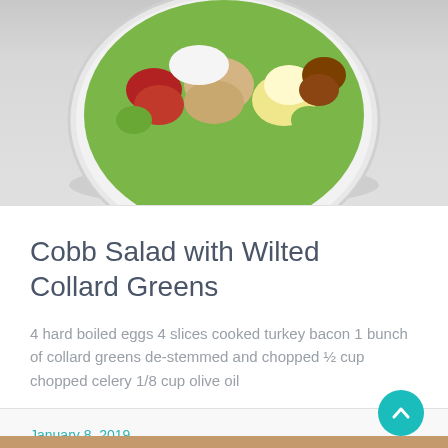[Figure (photo): Cobb salad in a white bowl viewed from above, showing arranged rows of toppings including tomatoes, chicken, bacon, eggs, and greens on a gray background]
Cobb Salad with Wilted Collard Greens
4 hard boiled eggs 4 slices cooked turkey bacon 1 bunch of collard greens de-stemmed and chopped ½ cup chopped celery 1/8 cup olive oil
READ MORE »
January 8, 2019